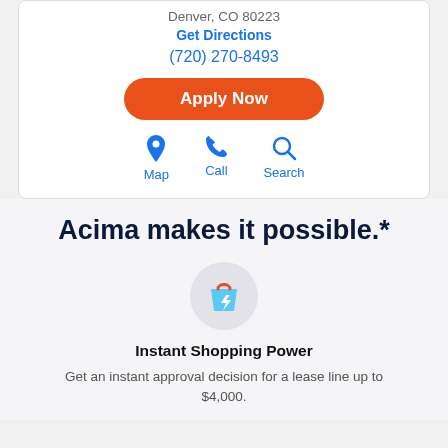Denver, CO 80223
Get Directions
(720) 270-8493
Apply Now
Map
Call
Search
Acima makes it possible.*
[Figure (illustration): Shopping bag icon with lightning bolt, blue bag with orange handle on a light grey circular background]
Instant Shopping Power
Get an instant approval decision for a lease line up to $4,000.